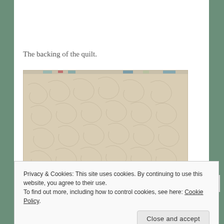The backing of the quilt.
[Figure (photo): Photo of the backing of a quilt, showing a cream/beige textured fabric with quilted swirling stitch patterns across the surface. A small strip of colorful fabric is visible at the very top edge.]
Privacy & Cookies: This site uses cookies. By continuing to use this website, you agree to their use.
To find out more, including how to control cookies, see here: Cookie Policy
Close and accept